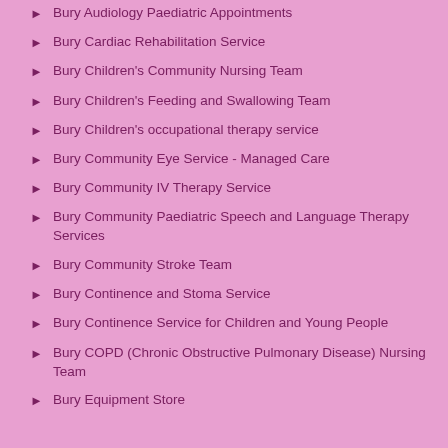Bury Audiology Paediatric Appointments
Bury Cardiac Rehabilitation Service
Bury Children's Community Nursing Team
Bury Children's Feeding and Swallowing Team
Bury Children's occupational therapy service
Bury Community Eye Service - Managed Care
Bury Community IV Therapy Service
Bury Community Paediatric Speech and Language Therapy Services
Bury Community Stroke Team
Bury Continence and Stoma Service
Bury Continence Service for Children and Young People
Bury COPD (Chronic Obstructive Pulmonary Disease) Nursing Team
Bury Equipment Store